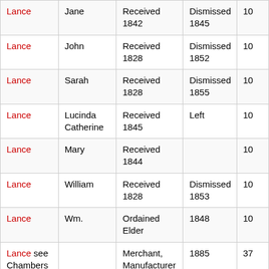| Last Name | First Name | Status/Notes | Year/Date | Pg |
| --- | --- | --- | --- | --- |
| Lance | Jane | Received 1842 | Dismissed 1845 | 10 |
| Lance | John | Received 1828 | Dismissed 1852 | 10 |
| Lance | Sarah | Received 1828 | Dismissed 1855 | 10 |
| Lance | Lucinda Catherine | Received 1845 | Left | 10 |
| Lance | Mary | Received 1844 |  | 10 |
| Lance | William | Received 1828 | Dismissed 1853 | 10 |
| Lance | Wm. | Ordained Elder | 1848 | 10 |
| Lance see Chambers |  | Merchant, Manufacturer or Trader | 1885 | 37 |
|  |  | Baughman | About |  |